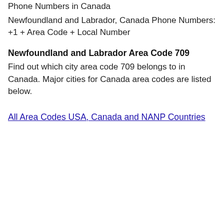Phone Numbers in Canada
Newfoundland and Labrador, Canada Phone Numbers: +1 + Area Code + Local Number
Newfoundland and Labrador Area Code 709
Find out which city area code 709 belongs to in Canada. Major cities for Canada area codes are listed below.
All Area Codes USA, Canada and NANP Countries